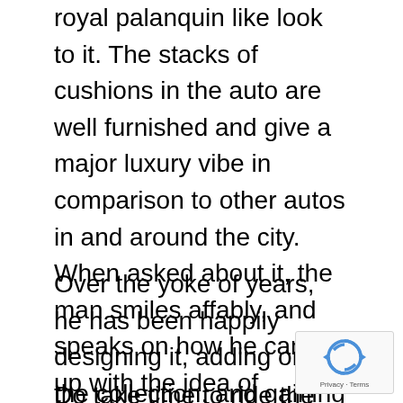royal palanquin like look to it. The stacks of cushions in the auto are well furnished and give a major luxury vibe in comparison to other autos in and around the city. When asked about it, the man smiles affably, and speaks on how he came up with the idea of customizing his source of roti, kapda and makan, for own pleasure, and to lure passengers.
Over the yoke of years, he has been happily designing it, adding on to the collection, and gaining recognition, and the effort, happiness, and success of the man shows off clearly, as many other commuters get gathered already
Do take time to ride the auto if you spot it around